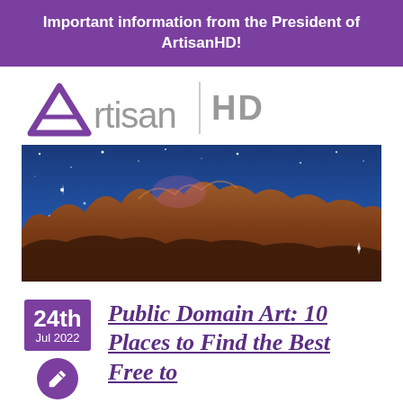Important information from the President of ArtisanHD!
[Figure (logo): ArtisanHD logo with purple A-shaped mark and 'rtisan' text in gray, followed by vertical divider and 'HD' in gray bold text]
[Figure (photo): NASA James Webb Space Telescope image of the Carina Nebula, showing glowing brown and orange cosmic cliffs against a deep blue starfield]
24th Jul 2022
Public Domain Art: 10 Places to Find the Best Free to